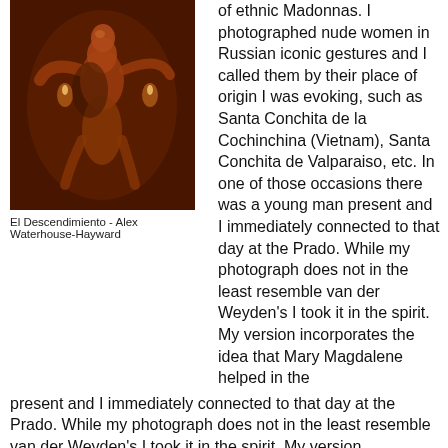[Figure (photo): Sepia-toned photograph titled 'El Descendimiento' by Alex Waterhouse-Hayward, showing figures in a dramatic pose reminiscent of a religious descent scene, with candlelight visible in the background.]
El Descendimiento - Alex Waterhouse-Hayward
of ethnic Madonnas. I photographed nude women in Russian iconic gestures and I called them by their place of origin I was evoking, such as Santa Conchita de la Cochinchina (Vietnam), Santa Conchita de Valparaiso, etc. In one of those occasions there was a young man present and I immediately connected to that day at the Prado. While my photograph does not in the least resemble van der Weyden's I took it in the spirit. My version incorporates the idea that Mary Magdalene helped in the